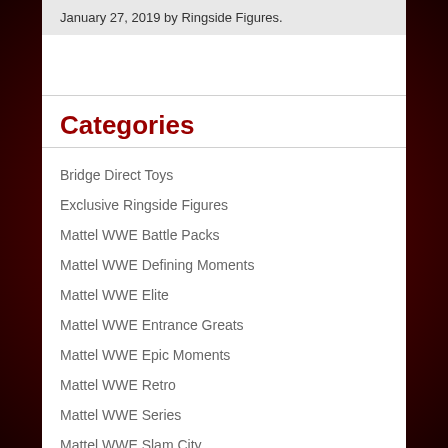January 27, 2019 by Ringside Figures.
Categories
Bridge Direct Toys
Exclusive Ringside Figures
Mattel WWE Battle Packs
Mattel WWE Defining Moments
Mattel WWE Elite
Mattel WWE Entrance Greats
Mattel WWE Epic Moments
Mattel WWE Retro
Mattel WWE Series
Mattel WWE Slam City